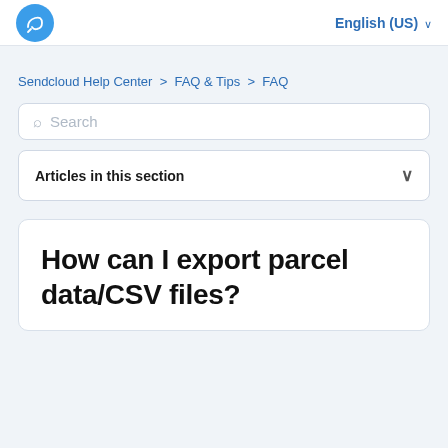English (US)
Sendcloud Help Center > FAQ & Tips > FAQ
Search
Articles in this section
How can I export parcel data/CSV files?